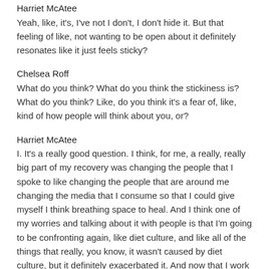Harriet McAtee
Yeah, like, it's, I've not I don't, I don't hide it. But that feeling of like, not wanting to be open about it definitely resonates like it just feels sticky?
Chelsea Roff
What do you think? What do you think the stickiness is? What do you think? Like, do you think it's a fear of, like, kind of how people will think about you, or?
Harriet McAtee
I. It's a really good question. I think, for me, a really, really big part of my recovery was changing the people that I spoke to like changing the people that are around me changing the media that I consume so that I could give myself I think breathing space to heal. And I think one of my worries and talking about it with people is that I'm going to be confronting again, like diet culture, and like all of the things that really, you know, it wasn't caused by diet culture, but it definitely exacerbated it. And now that I work